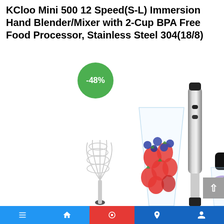KCloo Mini 500 12 Speed(S-L) Immersion Hand Blender/Mixer with 2-Cup BPA Free Food Processor, Stainless Steel 304(18/8)
[Figure (photo): Product image of a hand blender/immersion blender set showing: a stainless steel whisk attachment, a clear cup filled with mixed berries and strawberries, the main immersion blender body in stainless steel black, and a 2-cup food processor container with vegetables and berries inside. A green circular badge shows -48% discount.]
Bottom navigation bar with blue, red, and dark blue segments containing icons